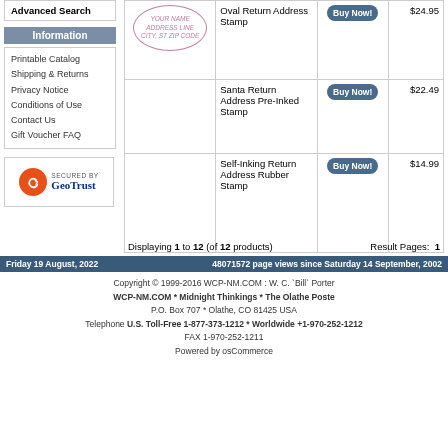Advanced Search
Information
Printable Catalog
Shipping & Returns
Privacy Notice
Conditions of Use
Contact Us
Gift Voucher FAQ
[Figure (logo): Secured by GeoTrust logo with orange circle and arrow]
| Image | Product | Action | Price |
| --- | --- | --- | --- |
| [Oval stamp image] | Oval Return Address Stamp | Buy Now! | $24.95 |
|  | Santa Return Address Pre-Inked Stamp | Buy Now! | $22.49 |
|  | Self-Inking Return Address Rubber Stamp | Buy Now! | $14.99 |
Displaying 1 to 12 (of 12 products)
Result Pages: 1
Friday 19 August, 2022    48071572 page views since Saturday 14 September, 2002
Copyright © 1999-2016 WCP-NM.COM : W. C. `Bill` Porter
WCP-NM.COM * Midnight Thinkings * The Olathe Poste
P.O. Box 707 * Olathe, CO 81425 USA
Telephone U.S. Toll-Free 1-877-373-1212 * Worldwide +1-970-252-1212
FAX 1-970-252-1211
Powered by osCommerce